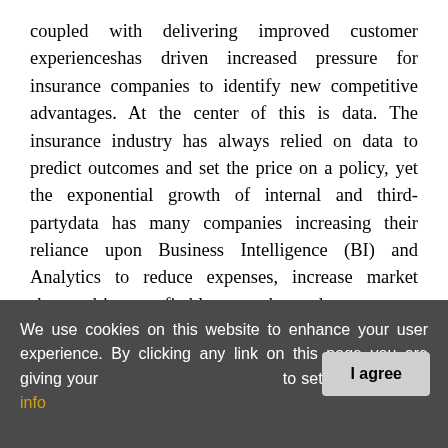coupled with delivering improved customer experienceshas driven increased pressure for insurance companies to identify new competitive advantages. At the center of this is data. The insurance industry has always relied on data to predict outcomes and set the price on a policy, yet the exponential growth of internal and third-partydata has many companies increasing their reliance upon Business Intelligence (BI) and Analytics to reduce expenses, increase market share, drive profitable growth, and meet new customer expectations. This has created many opportunities and challenges within the insurance industry and within Farm Bureau Financial Services. Specialized teams within the organization are no longer the only groups analyzing data and developing scorecards and dashboards. With recent technology
We use cookies on this website to enhance your user experience. By clicking any link on this page you are giving your [I agree] to set cookies. More info